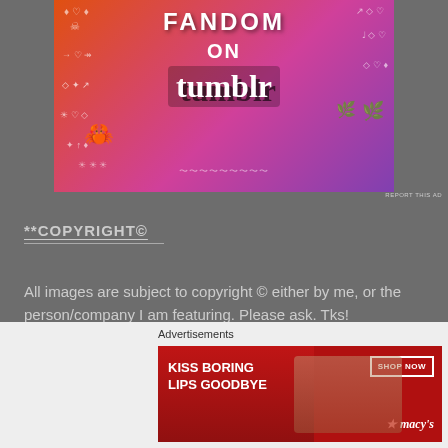[Figure (illustration): Colorful Fandom on Tumblr advertisement banner with orange-to-purple gradient background, white doodle icons, and bold white/black text]
REPORT THIS AD
**COPYRIGHT©
All images are subject to copyright © either by me, or the person/company I am featuring. Please ask. Tks!
Advertisements
[Figure (illustration): Macy's advertisement banner: KISS BORING LIPS GOODBYE with a woman's face showing red lips, SHOP NOW button and Macy's star logo]